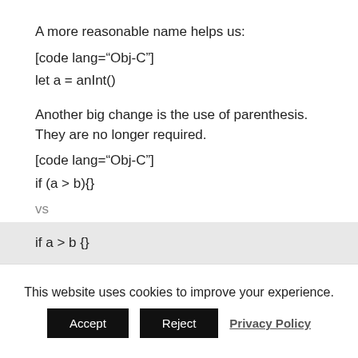A more reasonable name helps us:
[code lang="Obj-C"]
let a = anInt()
Another big change is the use of parenthesis. They are no longer required.
[code lang="Obj-C"]
if (a > b){}
vs
if a > b {}
This website uses cookies to improve your experience.
Accept
Reject
Privacy Policy